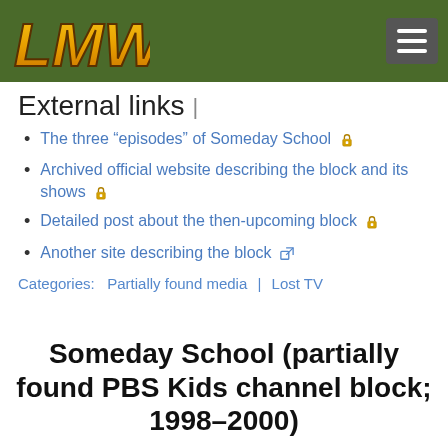[Figure (logo): LMW site logo in gold/orange stylized text on dark green header bar]
External links
The three “episodes” of Someday School 🔒
Archived official website describing the block and its shows 🔒
Detailed post about the then-upcoming block 🔒
Another site describing the block ↗
Categories:  Partially found media | Lost TV
Someday School (partially found PBS Kids channel block; 1998–2000)